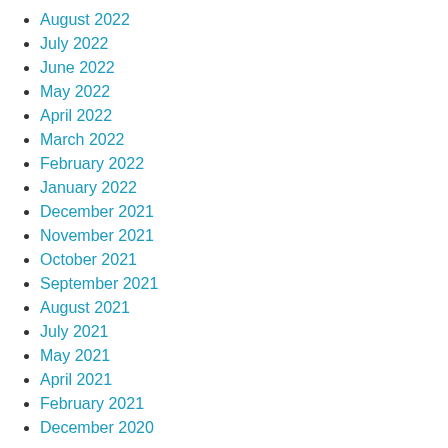August 2022
July 2022
June 2022
May 2022
April 2022
March 2022
February 2022
January 2022
December 2021
November 2021
October 2021
September 2021
August 2021
July 2021
May 2021
April 2021
February 2021
December 2020